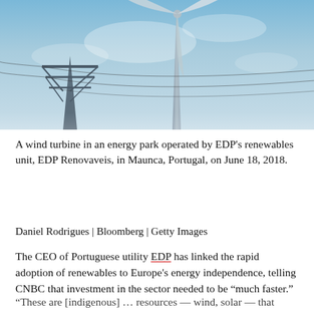[Figure (photo): A wind turbine against a blue sky with power line towers and cables in the background]
A wind turbine in an energy park operated by EDP's renewables unit, EDP Renovaveis, in Maunca, Portugal, on June 18, 2018.
Daniel Rodrigues | Bloomberg | Getty Images
The CEO of Portuguese utility EDP has linked the rapid adoption of renewables to Europe's energy independence, telling CNBC that investment in the sector needed to be “much faster.”
“These are [indigenous] … resources — wind, solar — that